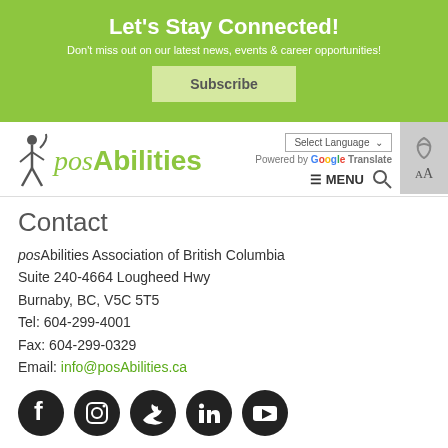Let's Stay Connected!
Don't miss out on our latest news, events & career opportunities!
Subscribe
[Figure (logo): posAbilities Association logo with green text and human figure silhouette]
Select Language | Powered by Google Translate | ≡ MENU
Contact
posAbilities Association of British Columbia
Suite 240-4664 Lougheed Hwy
Burnaby, BC, V5C 5T5
Tel: 604-299-4001
Fax: 604-299-0329
Email: info@posAbilities.ca
[Figure (infographic): Social media icons: Facebook, Instagram, Twitter, LinkedIn, YouTube — black circular icons]